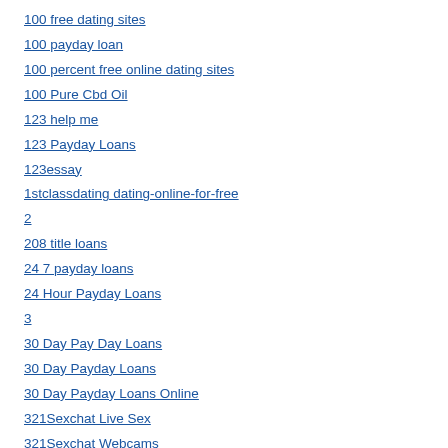100 free dating sites
100 payday loan
100 percent free online dating sites
100 Pure Cbd Oil
123 help me
123 Payday Loans
123essay
1stclassdating dating-online-for-free
2
208 title loans
24 7 payday loans
24 Hour Payday Loans
3
30 Day Pay Day Loans
30 Day Payday Loans
30 Day Payday Loans Online
321Sexchat Live Sex
321Sexchat Webcams
3monks